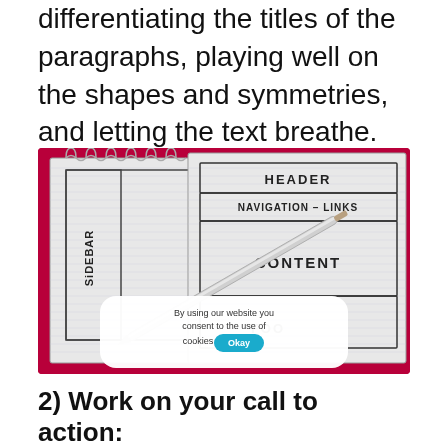differentiating the titles of the paragraphs, playing well on the shapes and symmetries, and letting the text breathe.
[Figure (photo): A notebook with a hand-drawn wireframe layout sketch showing HEADER, NAVIGATION - LINKS, SIDEBAR, CONTENT, FOOTER sections, with a silver pen resting on the page, on a red background. A cookie consent overlay is visible in the lower portion of the image.]
2) Work on your call to action: